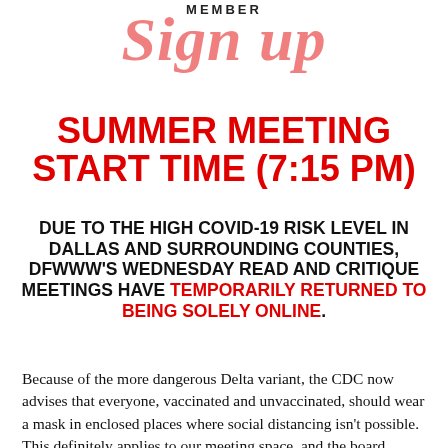MEMBER
Sign Up
SUMMER MEETING START TIME (7:15 PM)
DUE TO THE HIGH COVID-19 RISK LEVEL IN DALLAS AND SURROUNDING COUNTIES, DFWWW'S WEDNESDAY READ AND CRITIQUE MEETINGS HAVE TEMPORARILY RETURNED TO BEING SOLELY ONLINE.
Because of the more dangerous Delta variant, the CDC now advises that everyone, vaccinated and unvaccinated, should wear a mask in enclosed places where social distancing isn't possible. This definitely applies to our meeting space, and the board doesn't feel